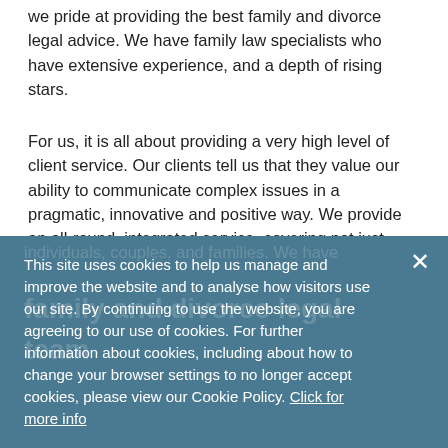we pride at providing the best family and divorce legal advice. We have family law specialists who have extensive experience, and a depth of rising stars.
For us, it is all about providing a very high level of client service. Our clients tell us that they value our ability to communicate complex issues in a pragmatic, innovative and positive way. We provide an all-round, integrated service, covering not just family law but every other service required by
This site uses cookies to help us manage and improve the website and to analyse how visitors use our site. By continuing to use the website, you are agreeing to our use of cookies. For further information about cookies, including about how to change your browser settings to no longer accept cookies, please view our Cookie Policy. Click for more info